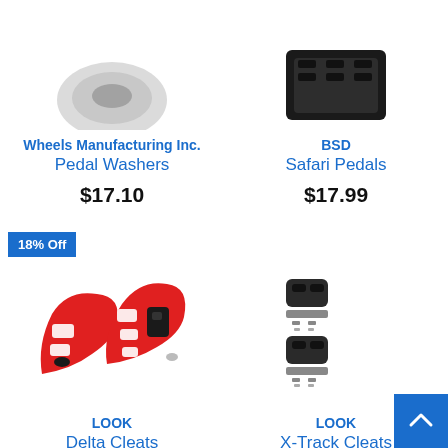[Figure (photo): Wheels Manufacturing Inc. Pedal Washers product image (partially visible at top)]
Wheels Manufacturing Inc.
Pedal Washers
$17.10
[Figure (photo): BSD Safari Pedals product image (partially visible at top)]
BSD
Safari Pedals
$17.99
18% Off
[Figure (photo): LOOK Delta Cleats - red cleat product image]
LOOK
Delta Cleats
[Figure (photo): LOOK X-Track Cleats - black cleat set product image]
LOOK
X-Track Cleats